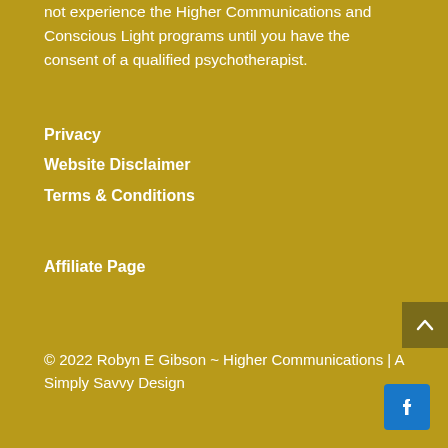not experience the Higher Communications and Conscious Light programs until you have the consent of a qualified psychotherapist.
Privacy
Website Disclaimer
Terms & Conditions
Affiliate Page
© 2022 Robyn E Gibson ~ Higher Communications | A Simply Savvy Design